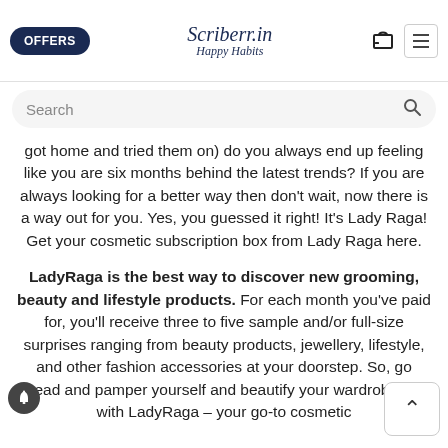going to the stores ever... wanted to try out a new ser, eyeliner wellery etc? you
[Figure (screenshot): Website navigation bar with OFFERS button, Scriberr.in Happy Habits logo, bag icon, and hamburger menu]
[Figure (screenshot): Search bar with placeholder text 'Search' and magnifying glass icon]
got home and tried them on) do you always end up feeling like you are six months behind the latest trends? If you are always looking for a better way then don't wait, now there is a way out for you. Yes, you guessed it right! It's Lady Raga! Get your cosmetic subscription box from Lady Raga here.
LadyRaga is the best way to discover new grooming, beauty and lifestyle products. For each month you've paid for, you'll receive three to five sample and/or full-size surprises ranging from beauty products, jewellery, lifestyle, and other fashion accessories at your doorstep. So, go ahead and pamper yourself and beautify your wardrobe now with LadyRaga – your go-to cosmetic